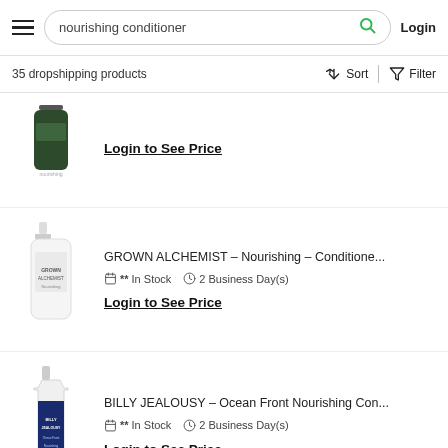nourishing conditioner | Login
35 dropshipping products
Login to See Price (first product, partially visible)
GROWN ALCHEMIST - Nourishing - Conditione... ** In Stock  2 Business Day(s)  Login to See Price
BILLY JEALOUSY - Ocean Front Nourishing Con... ** In Stock  2 Business Day(s)  Login to See Price